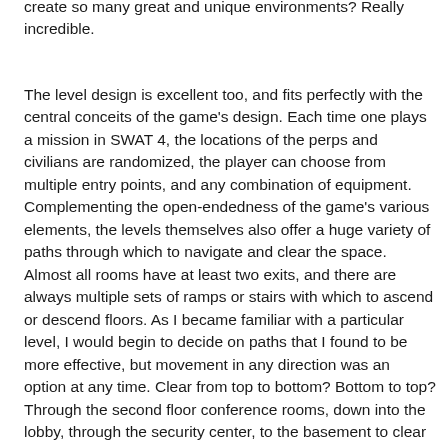create so many great and unique environments? Really incredible.
The level design is excellent too, and fits perfectly with the central conceits of the game's design. Each time one plays a mission in SWAT 4, the locations of the perps and civilians are randomized, the player can choose from multiple entry points, and any combination of equipment. Complementing the open-endedness of the game's various elements, the levels themselves also offer a huge variety of paths through which to navigate and clear the space. Almost all rooms have at least two exits, and there are always multiple sets of ramps or stairs with which to ascend or descend floors. As I became familiar with a particular level, I would begin to decide on paths that I found to be more effective, but movement in any direction was an option at any time. Clear from top to bottom? Bottom to top? Through the second floor conference rooms, down into the lobby, through the security center, to the basement to clear the vault, back up to the first floor to clear the teller's booths, upstairs to clear the executive suites, then finally a sweep of the first floor cubicles? Sure. Methodical, impulsive, backwards or